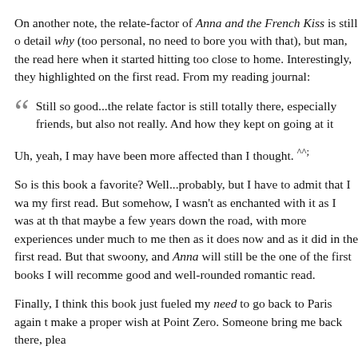On another note, the relate-factor of Anna and the French Kiss is still on detail why (too personal, no need to bore you with that), but man, the read here when it started hitting too close to home. Interestingly, they highlighted on the first read. From my reading journal:
Still so good...the relate factor is still totally there, especially friends, but also not really. And how they kept on going at it
Uh, yeah, I may have been more affected than I thought. ^^;
So is this book a favorite? Well...probably, but I have to admit that I wa my first read. But somehow, I wasn't as enchanted with it as I was at th that maybe a few years down the road, with more experiences under much to me then as it does now and as it did in the first read. But that swoony, and Anna will still be the one of the first books I will recomme good and well-rounded romantic read.
Finally, I think this book just fueled my need to go back to Paris again t make a proper wish at Point Zero. Someone bring me back there, plea